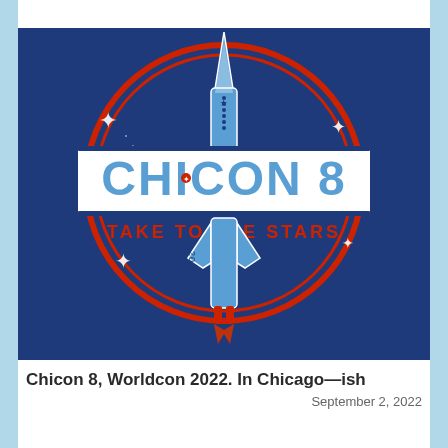[Figure (logo): Chicon 8 Worldcon 2022 logo: dark blue circular badge with a retro-style rocket ship in light blue, a red double-ring circle, stars scattered around, a white rectangular banner in the center reading 'CHICON 8' in large light blue letters, and below it 'TAKE TO THE STARS' in red text. The rocket has '2022' written vertically on its body and red engine flames at the bottom.]
Chicon 8, Worldcon 2022. In Chicago—ish
September 2, 2022